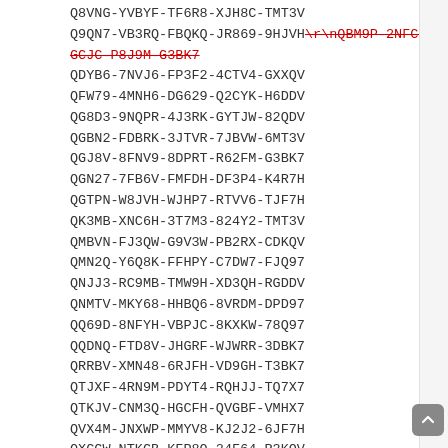Q8VNG-YVBYF-TF6R8-XJH8C-TMT3V
Q9QN7-VB3RQ-FBQKQ-JR869-9HJVH\r\nQBM9P-2NFCP-R GCJC-P8J9M-G3BK7 (strikethrough red)
QDYB6-7NVJ6-FP3F2-4CTV4-GXXQV
QFW79-4MNH6-DG629-Q2CYK-H6DDV
QG8D3-9NQPR-4J3RK-GYTJW-82QDV
QGBN2-FDBRK-3JTVR-7JBVW-6MT3V
QGJ8V-8FNV9-8DPRT-R62FM-G3BK7
QGN27-7FB6V-FMFDH-DF3P4-K4R7H
QGTPN-W8JVH-WJHP7-RTVV6-TJF7H
QK3MB-XNC6H-3T7M3-824Y2-TMT3V
QMBVN-FJ3QW-G9V3W-PB2RX-CDKQV
QMN2Q-Y6Q8K-FFHPY-C7DW7-FJQ97
QNJJ3-RC9MB-TMW9H-XD3QH-RGDDV
QNMTV-MKY68-HHBQ6-8VRDM-DPD97
QQ69D-8NFYH-VBPJC-8KXKW-78Q97
QQDNQ-FTD8V-JHGRF-WJWRR-3DBK7
QRRBV-XMN48-6RJFH-VD9GH-T3BK7
QTJXF-4RN9M-PDYT4-RQHJJ-TQ7X7
QTKJV-CNM3Q-HGCFH-QVGBF-VMHX7
QVX4M-JNXWP-MMYV8-KJ2J2-6JF7H
QXCGW-NTKGB-KFP8Q-24F64-R3KQV
QXBNP-KY692-447DM-VVHVT-237X7